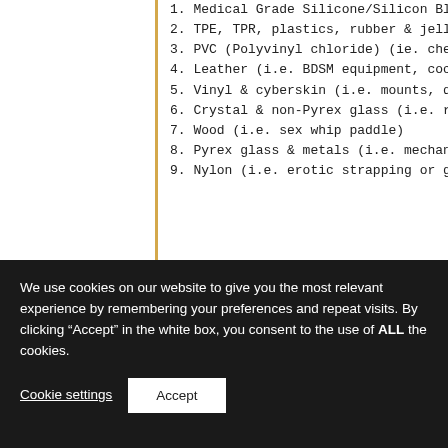1. Medical Grade Silicone/Silicon Blend (i.e. Fleshlight &
2. TPE, TPR, plastics, rubber & jellies (i.e. lower grade vi
3. PVC (Polyvinyl chloride) (ie. cheap love dolls)
4. Leather (i.e. BDSM equipment, cockrings)
5. Vinyl & cyberskin (i.e. mounts, dolls, alternative flesh
6. Crystal & non-Pyrex glass (i.e. rabbit vibrators)
7. Wood (i.e. sex whip paddle)
8. Pyrex glass & metals (i.e. mechanized clitoral vibrato
9. Nylon (i.e. erotic strapping or garment)
What to keep your eye out for when buying a hygienic s
What infection can you get from a sex toy
What are the safest safe sex toy materials?
Debunking the sex toy horror stories
How to maintain personal bodily hygiene after using a s
Sex toy materials to avoid with a bargpole
We use cookies on our website to give you the most relevant experience by remembering your preferences and repeat visits. By clicking “Accept” in the white box, you consent to the use of ALL the cookies.
Cookie settings
Accept